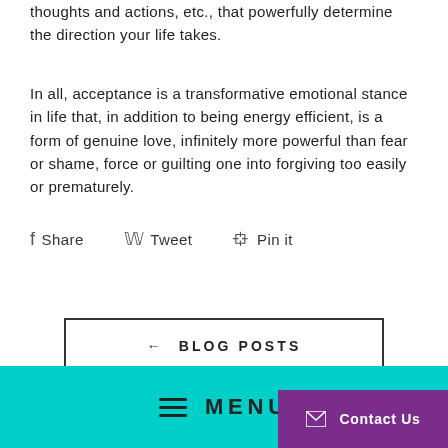thoughts and actions, etc., that powerfully determine the direction your life takes.
In all, acceptance is a transformative emotional stance in life that, in addition to being energy efficient, is a form of genuine love, infinitely more powerful than fear or shame, force or guilting one into forgiving too easily or prematurely.
Share   Tweet   Pin it
← BLOG POSTS
≡ MENU
Contact Us